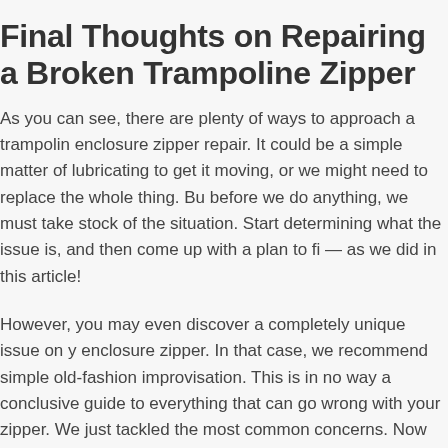Final Thoughts on Repairing a Broken Trampoline Zipper
As you can see, there are plenty of ways to approach a trampoline enclosure zipper repair. It could be a simple matter of lubricating to get it moving, or we might need to replace the whole thing. But before we do anything, we must take stock of the situation. Start determining what the issue is, and then come up with a plan to fix — as we did in this article!
However, you may even discover a completely unique issue on your enclosure zipper. In that case, we recommend simple old-fashioned improvisation. This is in no way a conclusive guide to everything that can go wrong with your zipper. We just tackled the most common concerns. Now you can use our advice to figure out